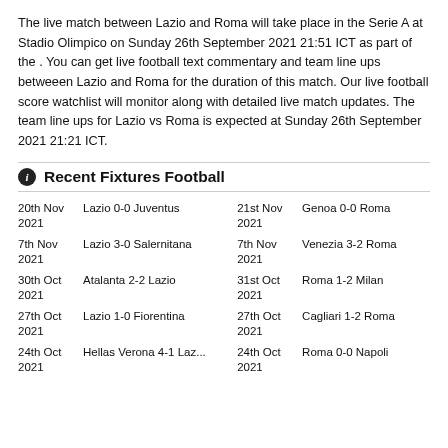The live match between Lazio and Roma will take place in the Serie A at Stadio Olimpico on Sunday 26th September 2021 21:51 ICT as part of the . You can get live football text commentary and team line ups betweeen Lazio and Roma for the duration of this match. Our live football score watchlist will monitor along with detailed live match updates. The team line ups for Lazio vs Roma is expected at Sunday 26th September 2021 21:21 ICT.
Recent Fixtures Football
| Date | Match | Date | Match |
| --- | --- | --- | --- |
| 20th Nov 2021 | Lazio 0-0 Juventus | 21st Nov 2021 | Genoa 0-0 Roma |
| 7th Nov 2021 | Lazio 3-0 Salernitana | 7th Nov 2021 | Venezia 3-2 Roma |
| 30th Oct 2021 | Atalanta 2-2 Lazio | 31st Oct 2021 | Roma 1-2 Milan |
| 27th Oct 2021 | Lazio 1-0 Fiorentina | 27th Oct 2021 | Cagliari 1-2 Roma |
| 24th Oct 2021 | Hellas Verona 4-1 Laz... | 24th Oct 2021 | Roma 0-0 Napoli |